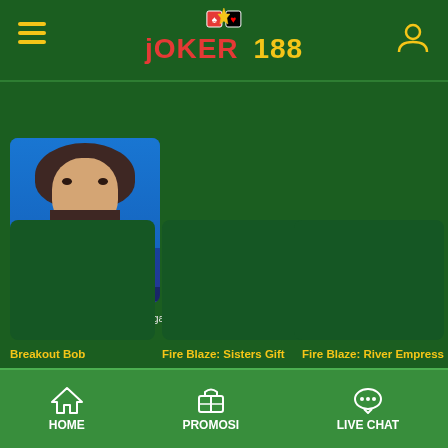JOKER 188 - navigation header with hamburger menu and user icon
[Figure (screenshot): Game thumbnail for Gem Splash: Kings Court slot game showing a male character with long hair, text 'GEM Splash KINGS Court' on blue background]
Gem Splash: Kings Court Mega Fire Blaze: Khons...   wild lava scratch
Breakout Bob   Fire Blaze: Sisters Gift   Fire Blaze: River Empress
HOME   PROMOSI   LIVE CHAT